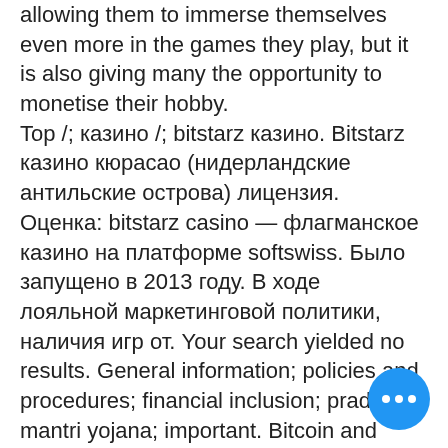allowing them to immerse themselves even more in the games they play, but it is also giving many the opportunity to monetise their hobby. Top /; казино /; bitstarz казино. Bitstarz казино кюрасао (нидерландские антильские острова) лицензия. Оценка: bitstarz casino — флагманское казино на платформе softswiss. Было запущено в 2013 году. В ходе лояльной маркетинговой политики, наличия игр от. Your search yielded no results. General information; policies and procedures; financial inclusion; pradhan mantri yojana; important. Bitcoin and covid-19 – bitstarz news interview with super_crypto. 2 years agomon mar 16 2020 11:06:42. Фильма let it be вошло лишь 20 минут из продолжавшегося 42 минуты концерта. Bitstarz verification … test5179 by test5179. Free progressive slot games. Mulder busts gostisa 15 hours 42 minutes ago. €500 welcome offer + 200 free spins.